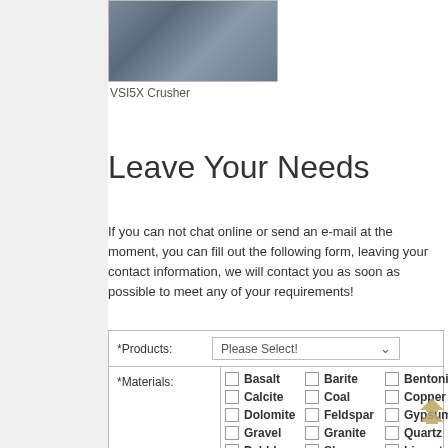[Figure (photo): VSI5X Crusher machine in industrial setting]
VSI5X Crusher
Leave Your Needs
If you can not chat online or send an e-mail at the moment, you can fill out the following form, leaving your contact information, we will contact you as soon as possible to meet any of your requirements!
| *Products: | Please Select! |
| --- | --- |
| *Materials: | Basalt, Barite, Bentonite, Calcite, Coal, Copper, Dolomite, Feldspar, Gypsum, Gravel, Granite, Quartz, Pebble, Slag, Limestone |